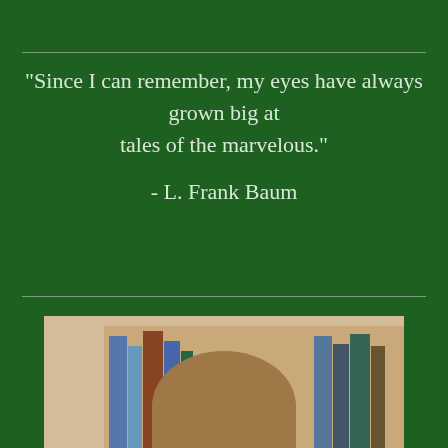"Since I can remember, my eyes have always grown big at tales of the marvelous."
- L. Frank Baum
[Figure (photo): A young woman with long brown hair holding a book (a novel) up to cover the lower half of her face. She is wearing a teal/blue long-sleeve top and standing in front of a wooden bookshelf filled with books.]